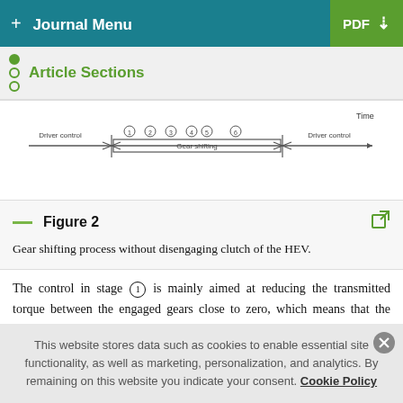+ Journal Menu  PDF ↓
Article Sections
[Figure (schematic): Timeline diagram of gear shifting process showing stages labeled 1-6 with Driver control phases on either side and a Gear shifting phase in the middle, with Time arrow at top right.]
Figure 2
Gear shifting process without disengaging clutch of the HEV.
The control in stage ① is mainly aimed at reducing the transmitted torque between the engaged gears close to zero, which means that the power sources are not output driving
This website stores data such as cookies to enable essential site functionality, as well as marketing, personalization, and analytics. By remaining on this website you indicate your consent. Cookie Policy